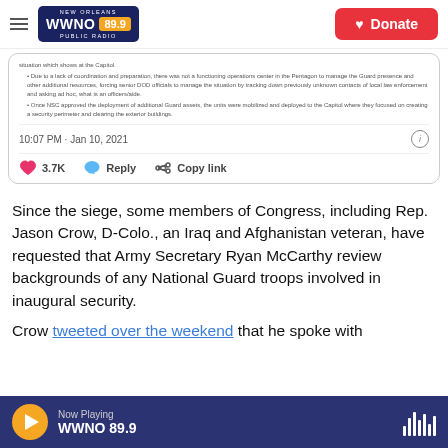WWNO 89.9 New Orleans Public Radio — Donate
[Figure (screenshot): Partial tweet screenshot showing bullet points about Capitol siege, timestamp 10:07 PM · Jan 10, 2021, with 3.7K likes, Reply, and Copy link actions]
Since the siege, some members of Congress, including Rep. Jason Crow, D-Colo., an Iraq and Afghanistan veteran, have requested that Army Secretary Ryan McCarthy review backgrounds of any National Guard troops involved in inaugural security.
Crow tweeted over the weekend that he spoke with